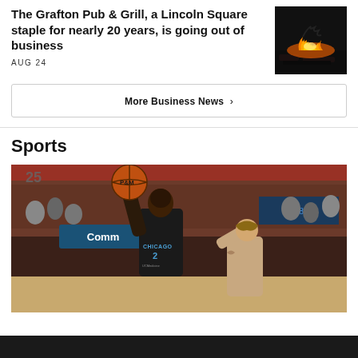The Grafton Pub & Grill, a Lincoln Square staple for nearly 20 years, is going out of business
AUG 24
[Figure (photo): Thumbnail photo of a fire at night, dark background with orange/yellow flames]
More Business News ›
Sports
[Figure (photo): WNBA basketball game photo showing a Chicago Sky player wearing jersey number 2 with CHICAGO and UCMedicine sponsor logo, holding ball up to shoot, with defender's arm visible, crowd in background]